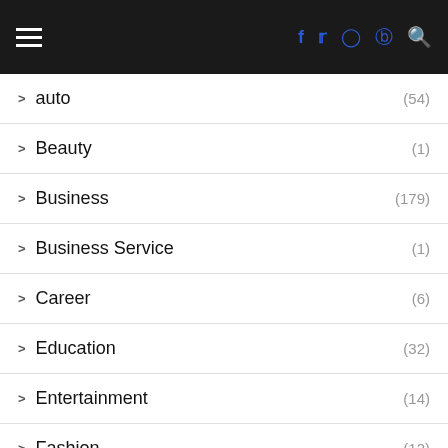Navigation header with hamburger menu and social icons (Facebook, Twitter, Instagram, Pinterest) and search
auto (54)
Beauty (1)
Business (179)
Business Service (1)
Career (6)
Education (32)
Entertainment (14)
Fashion (12)
Finance